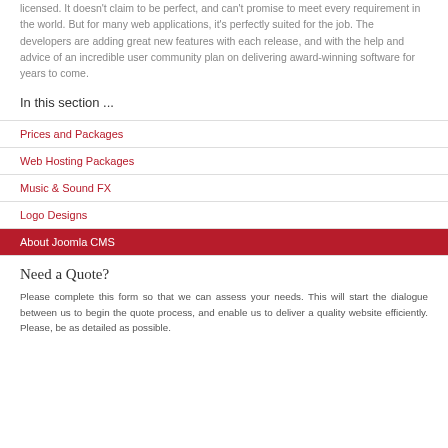licensed. It doesn't claim to be perfect, and can't promise to meet every requirement in the world. But for many web applications, it's perfectly suited for the job. The developers are adding great new features with each release, and with the help and advice of an incredible user community plan on delivering award-winning software for years to come.
In this section ...
Prices and Packages
Web Hosting Packages
Music & Sound FX
Logo Designs
About Joomla CMS
Need a Quote?
Please complete this form so that we can assess your needs. This will start the dialogue between us to begin the quote process, and enable us to deliver a quality website efficiently. Please, be as detailed as possible.